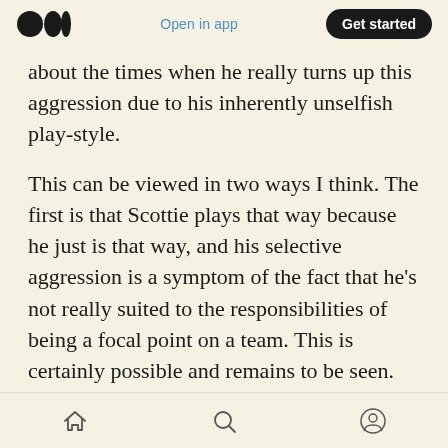Medium logo | Open in app | Get started
about the times when he really turns up this aggression due to his inherently unselfish play-style.
This can be viewed in two ways I think. The first is that Scottie plays that way because he just is that way, and his selective aggression is a symptom of the fact that he’s not really suited to the responsibilities of being a focal point on a team. This is certainly possible and remains to be seen. The second way is more circumstantial; Scottie is playing his way into a fairly established
Home | Search | Profile